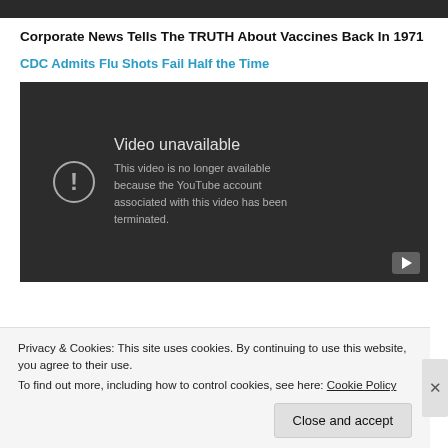Corporate News Tells The TRUTH About Vaccines Back In 1971
CDC Admits Flu Shots Fail Half the Time
[Figure (screenshot): Embedded YouTube video player showing 'Video unavailable' error. Text reads: 'This video is no longer available because the YouTube account associated with this video has been terminated.']
Privacy & Cookies: This site uses cookies. By continuing to use this website, you agree to their use. To find out more, including how to control cookies, see here: Cookie Policy
Close and accept